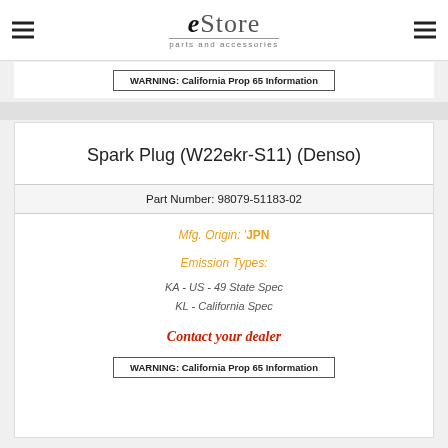[Figure (logo): eStore parts and accessories logo with hamburger menu icons on left and right]
WARNING: California Prop 65 Information
Spark Plug (W22ekr-S11) (Denso)
Part Number: 98079-51183-02
Mfg. Origin: JPN
Emission Types:
KA - US - 49 State Spec
KL - California Spec
Contact your dealer
WARNING: California Prop 65 Information